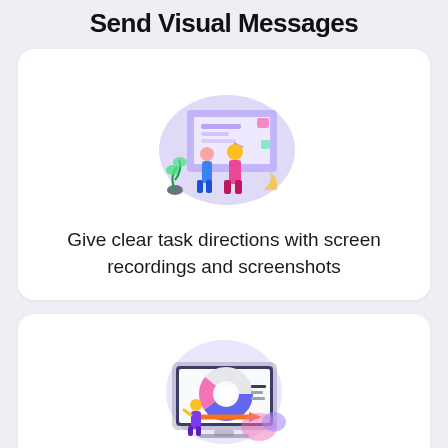Send Visual Messages
[Figure (illustration): Two people standing in front of a large screen with UI elements, isometric style illustration with purple background blob]
Give clear task directions with screen recordings and screenshots
[Figure (illustration): Person standing in front of a laptop/monitor showing a donut chart and analytics dashboard, isometric style illustration with light purple background]